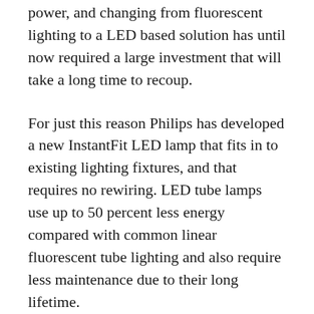power, and changing from fluorescent lighting to a LED based solution has until now required a large investment that will take a long time to recoup.
For just this reason Philips has developed a new InstantFit LED lamp that fits in to existing lighting fixtures, and that requires no rewiring. LED tube lamps use up to 50 percent less energy compared with common linear fluorescent tube lighting and also require less maintenance due to their long lifetime.
Changing from classic linear fluorescent tube lighting to Philips new LED based solution comes with many benefits where it's